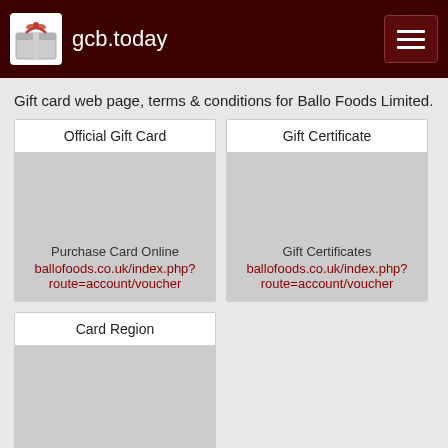gcb.today
Gift card web page, terms & conditions for Ballo Foods Limited.
| Official Gift Card | Gift Certificate |
| --- | --- |
| Purchase Card Online
ballofoods.co.uk/index.php?route=account/voucher | Gift Certificates
ballofoods.co.uk/index.php?route=account/voucher |
| Card Region |
| --- |
| United Kingdom
Explore Other Cards |